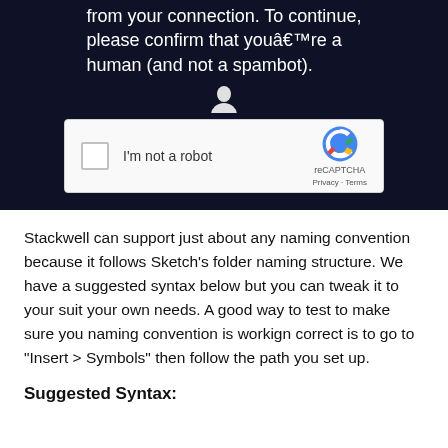from your connection. To continue, please confirm that youâ€™re a human (and not a spambot).
[Figure (screenshot): reCAPTCHA widget with checkbox labeled I'm not a robot, and reCAPTCHA logo with Privacy and Terms links]
Stackwell can support just about any naming convention because it follows Sketch’s folder naming structure. We have a suggested syntax below but you can tweak it to your suit your own needs. A good way to test to make sure you naming convention is workign correct is to go to "Insert > Symbols" then follow the path you set up.
Suggested Syntax: